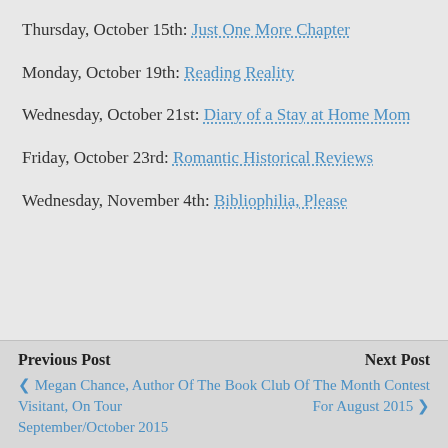Thursday, October 15th: Just One More Chapter
Monday, October 19th: Reading Reality
Wednesday, October 21st: Diary of a Stay at Home Mom
Friday, October 23rd: Romantic Historical Reviews
Wednesday, November 4th: Bibliophilia, Please
Previous Post | Megan Chance, Author Of The Visitant, On Tour September/October 2015 | Next Post | Book Club Of The Month Contest For August 2015